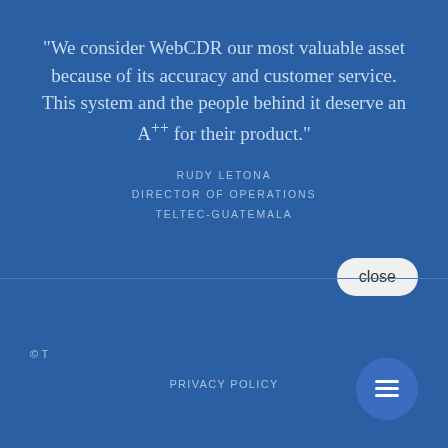"We consider WebCDR our most valuable asset because of its accuracy and customer service. This system and the people behind it deserve an A++ for their product."
RUDY LETONA
DIRECTOR OF OPERATIONS
TELTEC-GUATEMALA
[Figure (screenshot): Chat popup widget with close button, avatar photo of a woman, and the message 'Hi there, have a question? Text us here.']
© T
PRIVACY POLICY